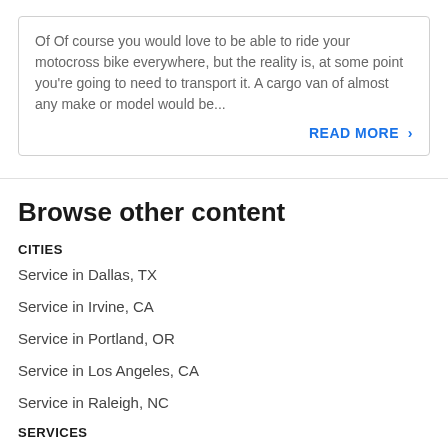Of Of course you would love to be able to ride your motocross bike everywhere, but the reality is, at some point you're going to need to transport it. A cargo van of almost any make or model would be...
READ MORE >
Browse other content
CITIES
Service in Dallas, TX
Service in Irvine, CA
Service in Portland, OR
Service in Los Angeles, CA
Service in Raleigh, NC
SERVICES